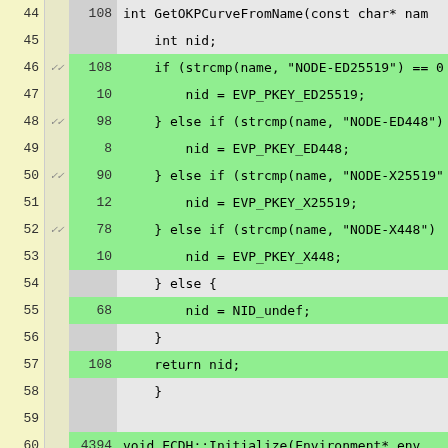[Figure (screenshot): Code coverage viewer showing C++ source code lines 44-70 with line numbers, checkmarks, hit counts, and highlighted (green) covered lines. Functions shown include GetOKPCurveFromName and ECDH::Initialize with coverage data.]